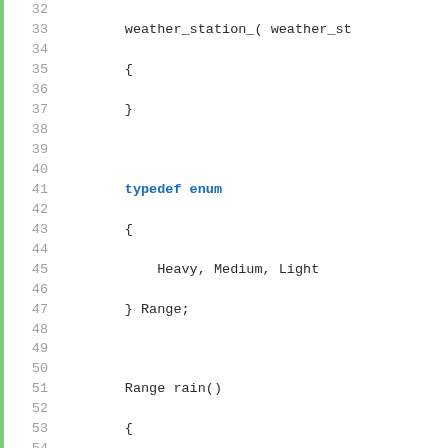[Figure (screenshot): Code editor screenshot showing C++ source code lines 32-57, with line numbers in grey on the left, a green vertical bar, and syntax-highlighted code. Keywords like typedef, enum, auto, if, else if, else, return, double are highlighted in blue.]